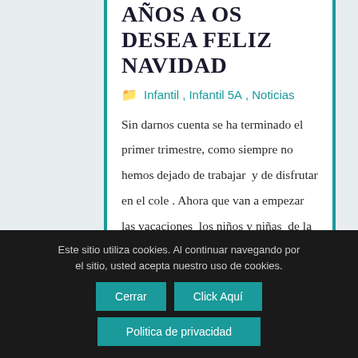AÑOS A OS DESEA FELIZ NAVIDAD
Infantil, Infantil 5A, Noticias
Sin darnos cuenta se ha terminado el primer trimestre, como siempre no hemos dejado de trabajar y de disfrutar en el cole . Ahora que van a empezar las vacaciones los niños y niñas de la clase y la Seño Marta queremos desearos a todos ¡Feliz Navidad!
Este sitio utiliza cookies. Al continuar navegando por el sitio, usted acepta nuestro uso de cookies.
Cerrar
Click Aquí
Politica de privacidad